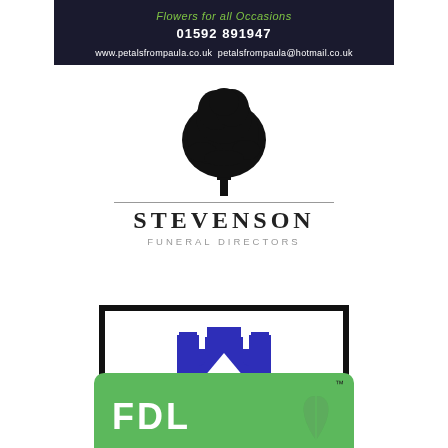[Figure (logo): Petals from Paula florist advertisement banner: dark navy background with green italic text 'Flowers for all Occasions', white bold phone number '01592 891947', and white small text 'www.petalsfrompaula.co.uk petalsfrompaula@hotmail.co.uk']
[Figure (logo): Stevenson Funeral Directors logo: black silhouette of a tree above a horizontal line, bold serif text 'STEVENSON' and smaller spaced text 'FUNERAL DIRECTORS' in grey below]
[Figure (logo): W&AS Bruce Solicitors and Estate Agents logo in a thick black rectangular border: blue castle/turret icon above bold blue text 'W&AS BRUCE' and spaced subtitle 'SOLICITORS AND ESTATE AGENTS']
[Figure (logo): FDL logo partially visible at bottom of page: green rounded rectangle background with white bold letters 'FDL' and a green leaf graphic, with TM superscript mark]